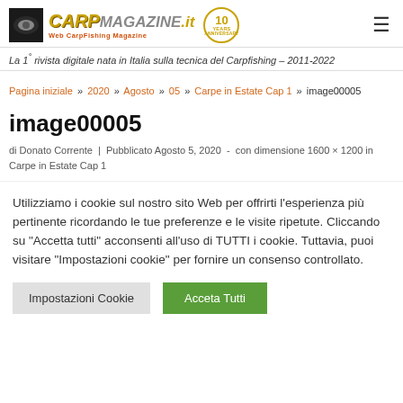CARP MAGAZINE.it - Web CarpFishing Magazine - 10 Anniversary
La 1° rivista digitale nata in Italia sulla tecnica del Carpfishing – 2011-2022
Pagina iniziale » 2020 » Agosto » 05 » Carpe in Estate Cap 1 » image00005
image00005
di Donato Corrente | Pubblicato Agosto 5, 2020 - con dimensione 1600 × 1200 in Carpe in Estate Cap 1
Utilizziamo i cookie sul nostro sito Web per offrirti l'esperienza più pertinente ricordando le tue preferenze e le visite ripetute. Cliccando su "Accetta tutti" acconsenti all'uso di TUTTI i cookie. Tuttavia, puoi visitare "Impostazioni cookie" per fornire un consenso controllato.
Impostazioni Cookie | Acceta Tutti